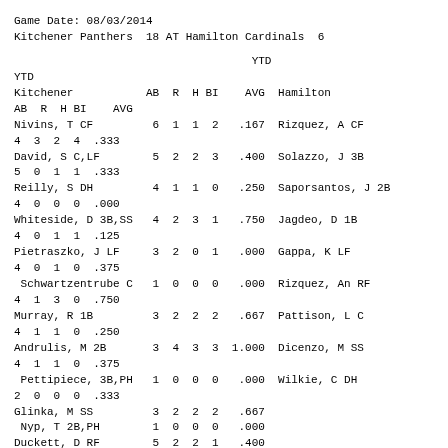Game Date: 08/03/2014
Kitchener Panthers  18 AT Hamilton Cardinals  6
| Player/Team | AB | R | H | BI | AVG | Player/Team | AB | R | H | BI | AVG |
| --- | --- | --- | --- | --- | --- | --- | --- | --- | --- | --- | --- |
| Nivins, T CF | 6 | 1 | 1 | 2 | .167 | Rizquez, A CF | 4 | 3 | 2 | 4 | .333 |
| David, S C,LF | 5 | 2 | 2 | 3 | .400 | Solazzo, J 3B | 5 | 0 | 1 | 1 | .333 |
| Reilly, S DH | 4 | 1 | 1 | 0 | .250 | Saporsantos, J 2B | 4 | 0 | 0 | 0 | .000 |
| Whiteside, D 3B,SS | 4 | 2 | 3 | 1 | .750 | Jagdeo, D 1B | 4 | 0 | 1 | 1 | .125 |
| Pietraszko, J LF | 3 | 2 | 0 | 1 | .000 | Gappa, K LF | 4 | 0 | 1 | 0 | .375 |
|  Schwartzentrube C | 1 | 0 | 0 | 0 | .000 | Rizquez, An RF | 4 | 1 | 3 | 0 | .750 |
| Murray, R 1B | 3 | 2 | 2 | 2 | .667 | Pattison, L C | 4 | 1 | 1 | 0 | .250 |
| Andrulis, M 2B | 3 | 4 | 3 | 3 | 1.000 | Dicenzo, M SS | 4 | 1 | 1 | 0 | .375 |
|  Pettipiece, 3B,PH | 1 | 0 | 0 | 0 | .000 | Wilkie, C DH | 2 | 0 | 0 | 0 | .333 |
| Glinka, M SS | 3 | 2 | 2 | 2 | .667 |  |  |  |  |  |  |
|  Nyp, T 2B,PH | 1 | 0 | 0 | 0 | .000 |  |  |  |  |  |  |
| Duckett, D RF | 5 | 2 | 2 | 1 | .400 |  |  |  |  |  |  |
| TOTALS | 39 | 18 | 16 | 15 |  |  |  |  |  |  |  |